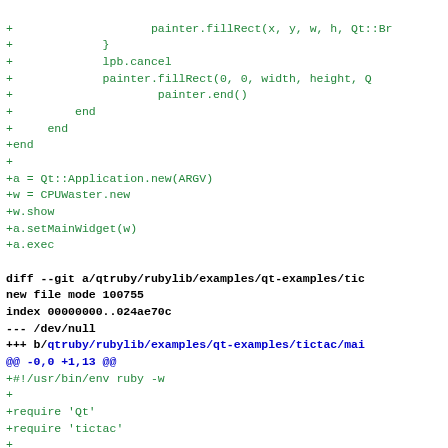diff --git code block showing git diff output with green added lines and blue diff headers
+ painter.fillRect(x, y, w, h, Qt::Br
+             }
+             lpb.cancel
+             painter.fillRect(0, 0, width, height, Q
+                     painter.end()
+         end
+     end
+end
+
+a = Qt::Application.new(ARGV)
+w = CPUWaster.new
+w.show
+a.setMainWidget(w)
+a.exec
diff --git a/qtruby/rubylib/examples/qt-examples/tic
new file mode 100755
index 00000000..024ae70c
--- /dev/null
+++ b/qtruby/rubylib/examples/qt-examples/tictac/mai
@@ -0,0 +1,13 @@
+#!/usr/bin/env ruby -w
+
+require 'Qt'
+require 'tictac'
+
+a = Qt::Application.new(ARGV)
+n = 3 # get board size n
+
+ttt = TicTacToe.new(n)